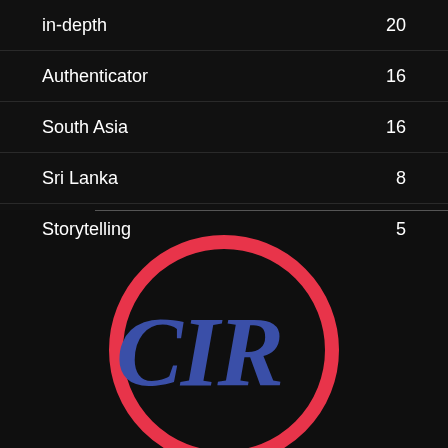in-depth   20
Authenticator   16
South Asia   16
Sri Lanka   8
Storytelling   5
[Figure (logo): CIR logo: bold blue hand-lettered text 'CIR' inside a red circular brushstroke on a dark background]